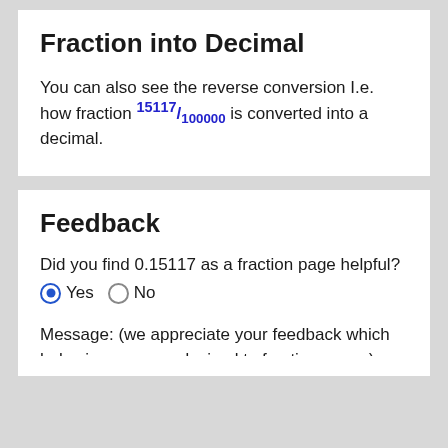Fraction into Decimal
You can also see the reverse conversion I.e. how fraction 15117/100000 is converted into a decimal.
Feedback
Did you find 0.15117 as a fraction page helpful?
Yes No (radio buttons)
Message: (we appreciate your feedback which helps improve our decimal to fraction pages)